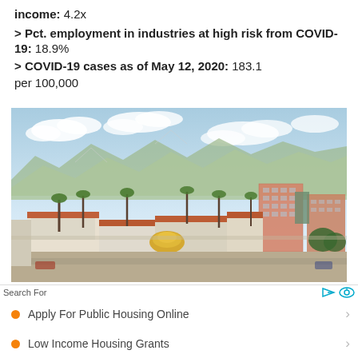income: 4.2x
> Pct. employment in industries at high risk from COVID-19: 18.9%
> COVID-19 cases as of May 12, 2020: 183.1 per 100,000
[Figure (photo): Aerial/elevated view of a Southern California city (likely Riverside) showing Spanish colonial architecture with red-tile roofs, palm trees, mountains in background, and a mix of low-rise and mid-rise buildings.]
Search For
Apply For Public Housing Online
Low Income Housing Grants